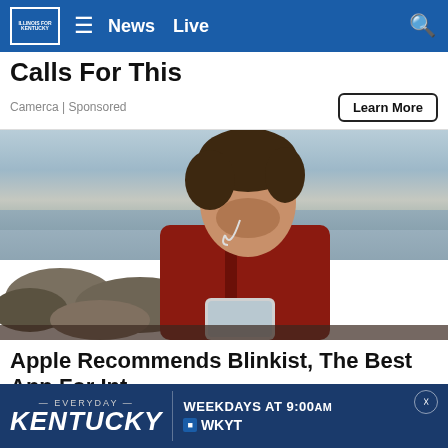News  Live
Calls For This
Camerca | Sponsored
Learn More
[Figure (photo): Man in red hoodie looking down at phone with earphones in, outdoors near water and rocks]
Apple Recommends Blinkist, The Best App For Int…
[Figure (infographic): Ad banner: Everyday KENTUCKY WEEKDAYS at 9:00AM WKYT]